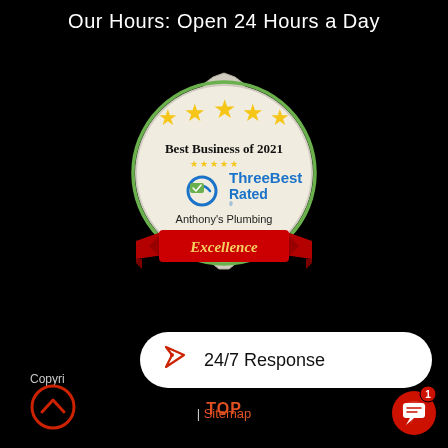Our Hours: Open 24 Hours a Day
[Figure (logo): ThreeBest Rated 'Best Business of 2021' badge with five gold stars, green serrated circle border, ThreeBest Rated logo, 'Anthony's Plumbing' text, and red 'Excellence' ribbon banner.]
24/7 Response
Copyri...
| Sitemap
TOP